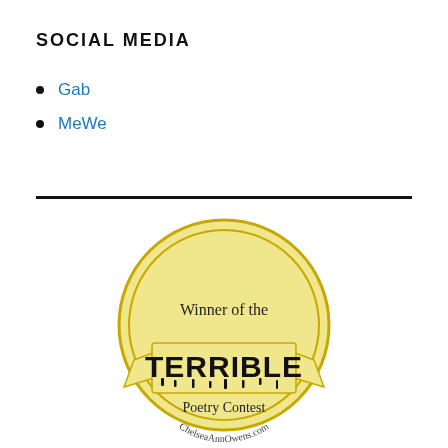SOCIAL MEDIA
Gab
MeWe
[Figure (logo): Badge/logo: Winner of the Terrible Poetry Contest - ChelseaAnnOwens.com, circular gold badge with ribbon banner containing the word TERRIBLE in dripping horror-style font]